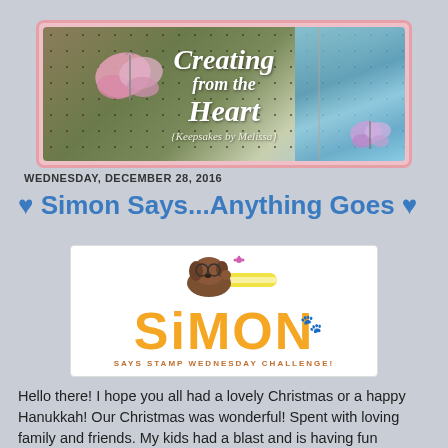[Figure (illustration): Blog header banner reading 'Creating from the Heart {Keepsakes by Melissa}' with decorative butterflies, polka dot background, blue ribbon bow, on a pink scalloped border]
WEDNESDAY, DECEMBER 28, 2016
♥ Simon Says...Anything Goes ♥
[Figure (logo): Simon Says Stamp Wednesday Challenge logo with orange SIMON text, a cartoon dog holding a candy cane, pink paw print in the O, and tagline 'SAYS STAMP WEDNESDAY CHALLENGE!']
Hello there! I hope you all had a lovely Christmas or a happy Hanukkah! Our Christmas was wonderful! Spent with loving family and friends. My kids had a blast and is having fun